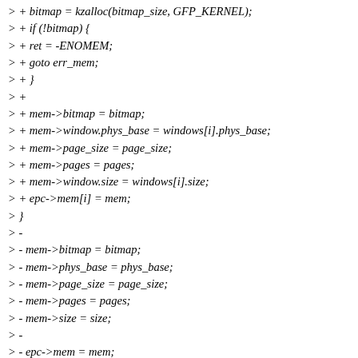> + bitmap = kzalloc(bitmap_size, GFP_KERNEL);
> + if (!bitmap) {
> + ret = -ENOMEM;
> + goto err_mem;
> + }
> +
> + mem->bitmap = bitmap;
> + mem->window.phys_base = windows[i].phys_base;
> + mem->page_size = page_size;
> + mem->pages = pages;
> + mem->window.size = windows[i].size;
> + epc->mem[i] = mem;
> }
> -
> - mem->bitmap = bitmap;
> - mem->phys_base = phys_base;
> - mem->page_size = page_size;
> - mem->pages = pages;
> - mem->size = size;
> -
> - epc->mem = mem;
> + epc->mem_windows = num_windows;
>
> return 0;
>